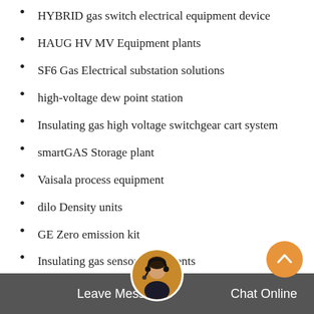HYBRID gas switch electrical equipment device
HAUG HV MV Equipment plants
SF6 Gas Electrical substation solutions
high-voltage dew point station
Insulating gas high voltage switchgear cart system
smartGAS Storage plant
Vaisala process equipment
dilo Density units
GE Zero emission kit
Insulating gas sensor equipments
Vaisala insulated load switch system
SF6-alternative gases tools training
toshiba On-Site Services
Insulating gas training